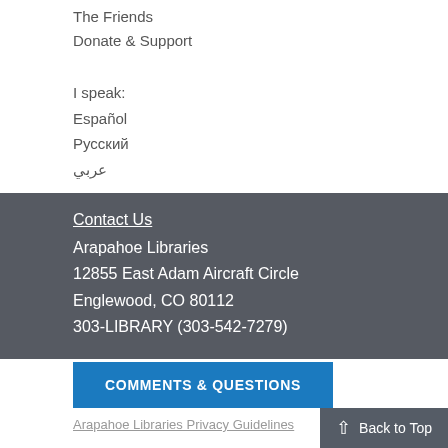The Friends
Donate & Support
I speak:
Español
Русский
عربي
Contact Us
Arapahoe Libraries
12855 East Adam Aircraft Circle
Englewood, CO 80112
303-LIBRARY (303-542-7279)
COMMENTS & QUESTIONS
Arapahoe Libraries Privacy Guidelines
Back to Top